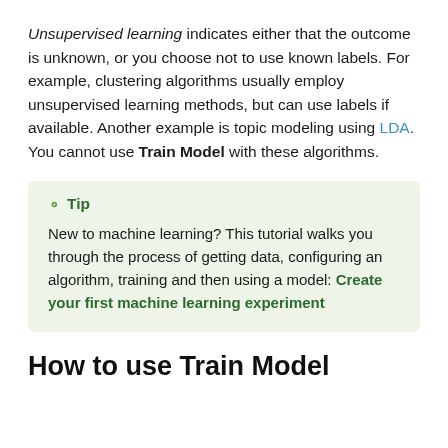Unsupervised learning indicates either that the outcome is unknown, or you choose not to use known labels. For example, clustering algorithms usually employ unsupervised learning methods, but can use labels if available. Another example is topic modeling using LDA. You cannot use Train Model with these algorithms.
Tip
New to machine learning? This tutorial walks you through the process of getting data, configuring an algorithm, training and then using a model: Create your first machine learning experiment
How to use Train Model